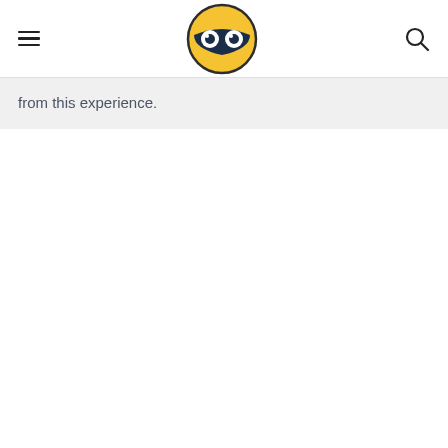Navigation header with hamburger menu, logo, and search icon
from this experience.